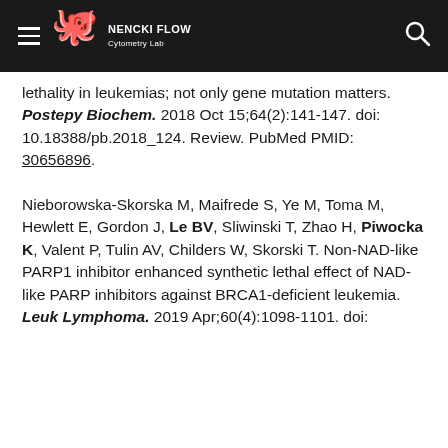NENCKI FLOW Cytometry Lab
lethality in leukemias; not only gene mutation matters. Postepy Biochem. 2018 Oct 15;64(2):141-147. doi: 10.18388/pb.2018_124. Review. PubMed PMID: 30656896.
Nieborowska-Skorska M, Maifrede S, Ye M, Toma M, Hewlett E, Gordon J, Le BV, Sliwinski T, Zhao H, Piwocka K, Valent P, Tulin AV, Childers W, Skorski T. Non-NAD-like PARP1 inhibitor enhanced synthetic lethal effect of NAD-like PARP inhibitors against BRCA1-deficient leukemia. Leuk Lymphoma. 2019 Apr;60(4):1098-1101. doi: